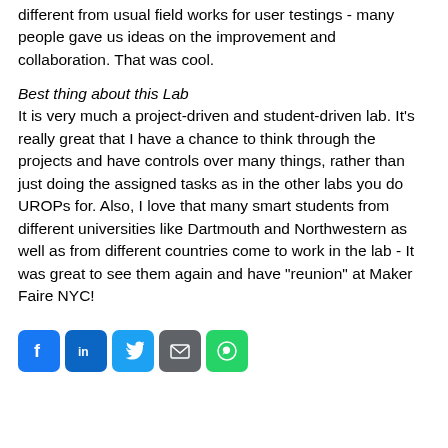different from usual field works for user testings - many people gave us ideas on the improvement and collaboration. That was cool.
Best thing about this Lab
It is very much a project-driven and student-driven lab. It’s really great that I have a chance to think through the projects and have controls over many things, rather than just doing the assigned tasks as in the other labs you do UROPs for. Also, I love that many smart students from different universities like Dartmouth and Northwestern as well as from different countries come to work in the lab - It was great to see them again and have “reunion” at Maker Faire NYC!
[Figure (other): Social media sharing icons: Facebook, LinkedIn, Twitter, Email, WhatsApp]